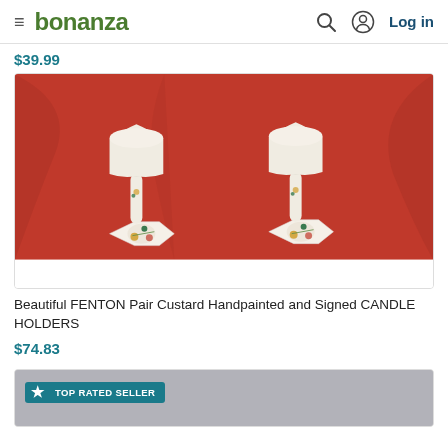bonanza | Log in
$39.99
[Figure (photo): Two white ceramic Fenton custard candle holders with hand-painted floral designs on hexagonal bases, displayed against a red fabric background]
Beautiful FENTON Pair Custard Handpainted and Signed CANDLE HOLDERS
$74.83
[Figure (photo): Product listing with TOP RATED SELLER badge, partially visible item]